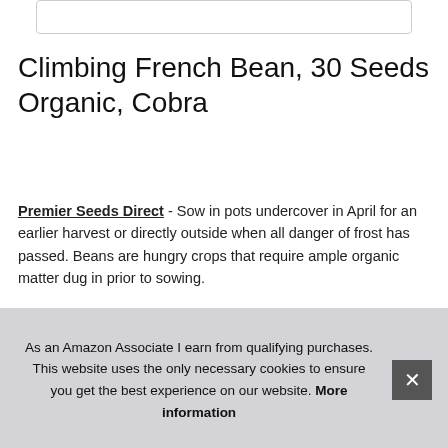[Figure (other): Search box UI element at top of page]
Climbing French Bean, 30 Seeds Organic, Cobra
Premier Seeds Direct - Sow in pots undercover in April for an earlier harvest or directly outside when all danger of frost has passed. Beans are hungry crops that require ample organic matter dug in prior to sowing.
Soil association" registered and certified organic - ap22387. Fee[d] cro[ps] Min[eral] atta[ck]
As an Amazon Associate I earn from qualifying purchases. This website uses the only necessary cookies to ensure you get the best experience on our website. More information